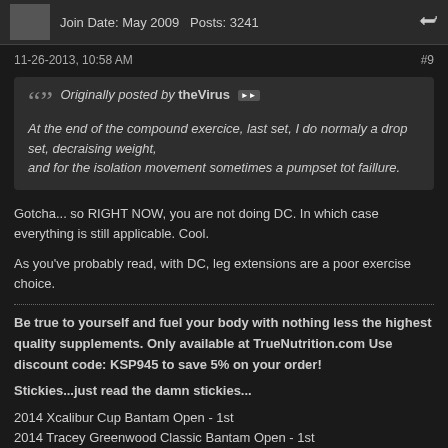Join Date: May 2009   Posts: 3241
11-26-2013, 10:58 AM   #9
Originally posted by theVirus
At the end of the compound exercice, last set, I do normaly a drop set, decraising weight, and for the isolation movement sometimes a pumpset tot faillure.
Gotcha... so RIGHT NOW, you are not doing DC. In which case everything is still applicable. Cool.
As you've probably read, with DC, leg extensions are a poor exercise choice.
Be true to yourself and fuel your body with nothing less the highest quality supplements. Only available at TrueNutrition.com Use discount code: KSP945 to save 5% on your order!
Stickies...just read the damn stickies...
2014 Xcalibur Cup Bantam Open - 1st
2014 Tracey Greenwood Classic Bantam Open - 1st
2015 Beat Cancer!